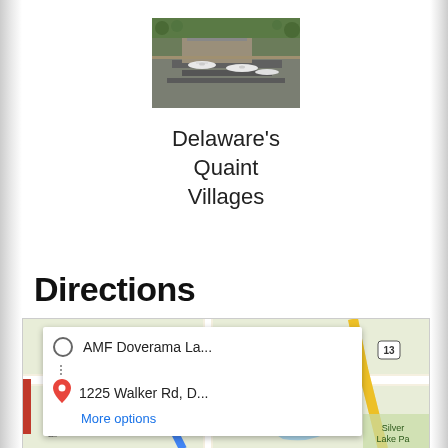[Figure (photo): Aerial photo of an airport with planes on tarmac]
Delaware's Quaint Villages
Directions
[Figure (screenshot): Google Maps screenshot showing directions from AMF Doverama La... to 1225 Walker Rd, D... with a 'More options' link]
AMF Doverama La...
1225 Walker Rd, D...
More options